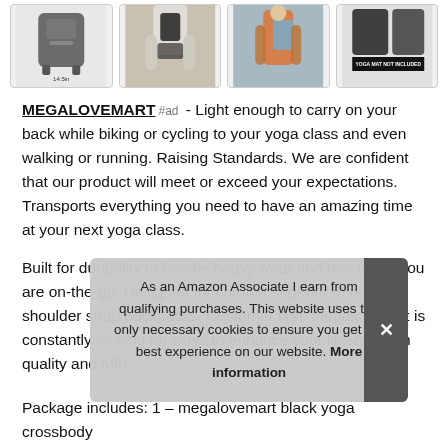[Figure (photo): Row of four product images: backpack, person holding bag, person wearing backpack, bag with text 'YOGA MAT NOT INCLUDED']
MEGALOVEMART #ad - Light enough to carry on your back while biking or cycling to your yoga class and even walking or running. Raising Standards. We are confident that our product will meet or exceed your expectations. Transports everything you need to have an amazing time at your next yoga class.
Built for durability to handle heavy wear and tear when you are on-the-go. Designed for comfort superior to double shoulder strap backpacks. Customer first: megalovemart is constantly looking for ways to enhance your lifestyle with quality and affo
As an Amazon Associate I earn from qualifying purchases. This website uses the only necessary cookies to ensure you get the best experience on our website. More information
Package includes: 1 – megalovemart black yoga crossbody